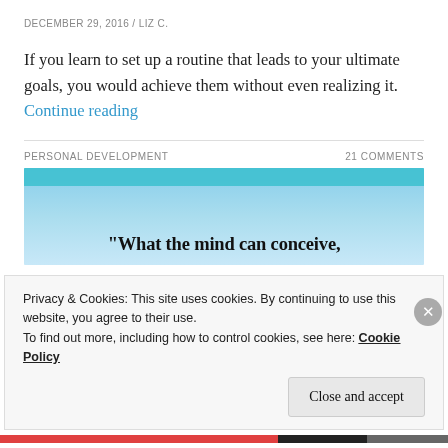DECEMBER 29, 2016 / LIZ C.
If you learn to set up a routine that leads to your ultimate goals, you would achieve them without even realizing it. Continue reading
PERSONAL DEVELOPMENT    21 COMMENTS
[Figure (photo): Sky with clouds image with quote text 'What the mind can conceive,' and teal bar overlay at top]
Privacy & Cookies: This site uses cookies. By continuing to use this website, you agree to their use.
To find out more, including how to control cookies, see here: Cookie Policy
Close and accept